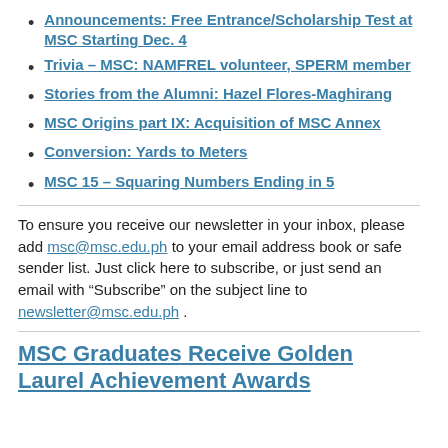Announcements: Free Entrance/Scholarship Test at MSC Starting Dec. 4
Trivia – MSC: NAMFREL volunteer, SPERM member
Stories from the Alumni: Hazel Flores-Maghirang
MSC Origins part IX: Acquisition of MSC Annex
Conversion: Yards to Meters
MSC 15 – Squaring Numbers Ending in 5
To ensure you receive our newsletter in your inbox, please add msc@msc.edu.ph to your email address book or safe sender list. Just click here to subscribe, or just send an email with “Subscribe” on the subject line to newsletter@msc.edu.ph .
MSC Graduates Receive Golden Laurel Achievement Awards